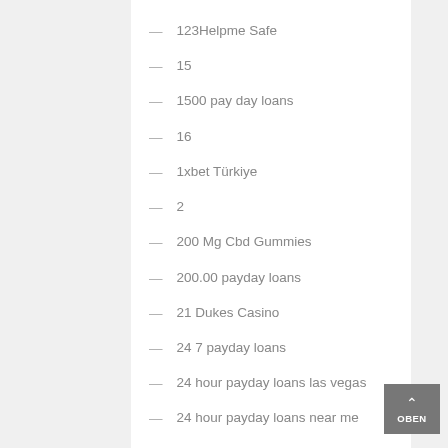123Helpme Safe
15
1500 pay day loans
16
1xbet Türkiye
2
200 Mg Cbd Gummies
200.00 payday loans
21 Dukes Casino
24 7 payday loans
24 hour payday loans las vegas
24 hour payday loans near me